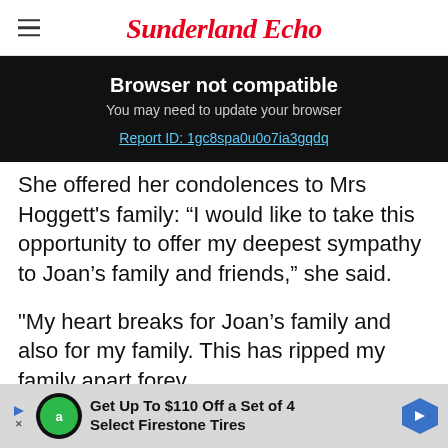Sunderland Echo
[Figure (screenshot): Browser not compatible overlay banner on black background. Text: 'Browser not compatible', 'You may need to update your browser', link 'Report ID: 1gc8spa0u0o7ia3gqdq']
She offered her condolences to Mrs Hoggett's family: “I would like to take this opportunity to offer my deepest sympathy to Joan’s family and friends,” she said.
"My heart breaks for Joan’s family and also for my family. This has ripped my family apart forev
[Figure (other): Advertisement banner: Get Up To $110 Off a Set of 4 Select Firestone Tires]